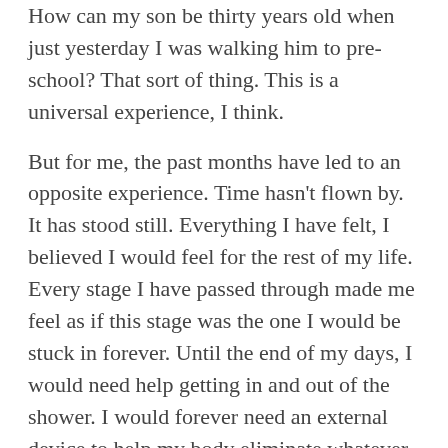How can my son be thirty years old when just yesterday I was walking him to pre-school? That sort of thing. This is a universal experience, I think.
But for me, the past months have led to an opposite experience. Time hasn't flown by. It has stood still. Everything I have felt, I believed I would feel for the rest of my life. Every stage I have passed through made me feel as if this stage was the one I would be stuck in forever. Until the end of my days, I would need help getting in and out of the shower. I would forever need an external device to help my body eliminate whatever small bits of nutrition I was able to ingest. My days of walking on the beach were over. I would never feel like having a glass of wine again. All these stages felt like end stages. But now, one month post-operation, and two months past the cancer diagnosis, all those stages are behind me. Although I still rely on one external